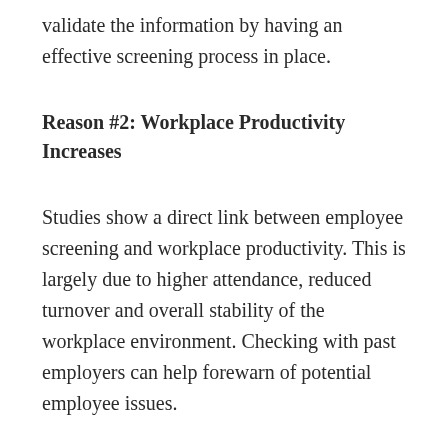validate the information by having an effective screening process in place.
Reason #2: Workplace Productivity Increases
Studies show a direct link between employee screening and workplace productivity. This is largely due to higher attendance, reduced turnover and overall stability of the workplace environment. Checking with past employers can help forewarn of potential employee issues.
Reason #3: Employee Quality Increases